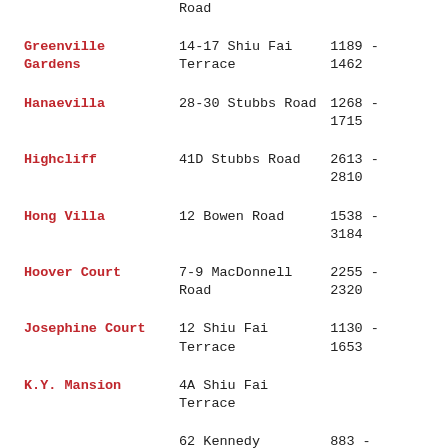| Name | Address | Numbers |
| --- | --- | --- |
|  | Road |  |
| Greenville Gardens | 14-17 Shiu Fai Terrace | 1189 - 1462 |
| Hanaevilla | 28-30 Stubbs Road | 1268 - 1715 |
| Highcliff | 41D Stubbs Road | 2613 - 2810 |
| Hong Villa | 12 Bowen Road | 1538 - 3184 |
| Hoover Court | 7-9 MacDonnell Road | 2255 - 2320 |
| Josephine Court | 12 Shiu Fai Terrace | 1130 - 1653 |
| K.Y. Mansion | 4A Shiu Fai Terrace |  |
|  | 62 Kennedy | 883 - |